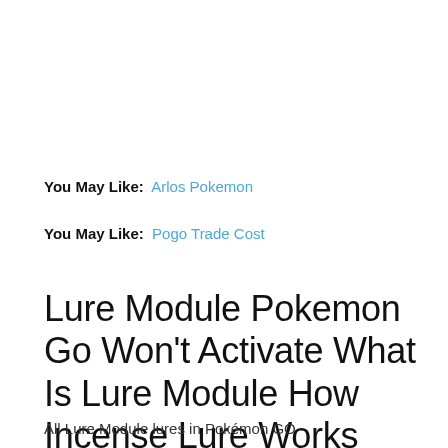You May Like:  Arlos Pokemon
You May Like:  Pogo Trade Cost
Lure Module Pokemon Go Won't Activate What Is Lure Module How Incense Lure Works
All Lure Module lures in Pokémon GO